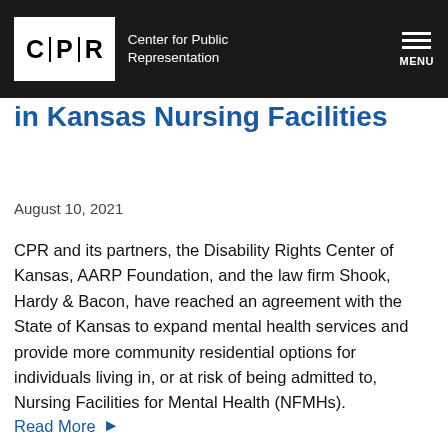CPR and Partners Reach Agreement — Center for Public Representation — MENU
CPR and Partners Reach Agreement with Mental Illness in Kansas Nursing Facilities
August 10, 2021
CPR and its partners, the Disability Rights Center of Kansas, AARP Foundation, and the law firm Shook, Hardy & Bacon, have reached an agreement with the State of Kansas to expand mental health services and provide more community residential options for individuals living in, or at risk of being admitted to, Nursing Facilities for Mental Health (NFMHs).
Read More ▶